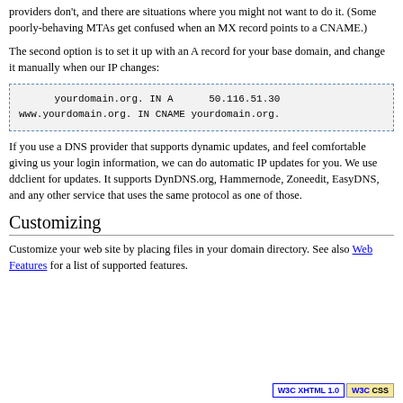providers don't, and there are situations where you might not want to do it. (Some poorly-behaving MTAs get confused when an MX record points to a CNAME.)
The second option is to set it up with an A record for your base domain, and change it manually when our IP changes:
yourdomain.org. IN A      50.116.51.30
www.yourdomain.org. IN CNAME yourdomain.org.
If you use a DNS provider that supports dynamic updates, and feel comfortable giving us your login information, we can do automatic IP updates for you. We use ddclient for updates. It supports DynDNS.org, Hammernode, Zoneedit, EasyDNS, and any other service that uses the same protocol as one of those.
Customizing
Customize your web site by placing files in your domain directory. See also Web Features for a list of supported features.
W3C XHTML 1.0  W3C CSS